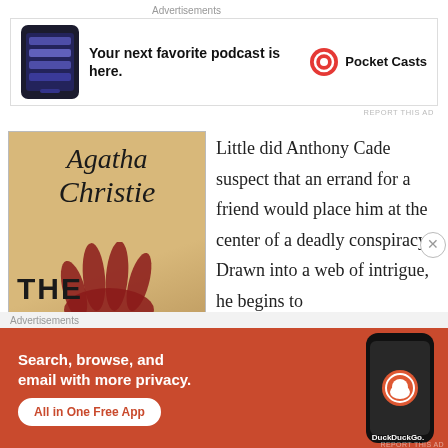Advertisements
[Figure (screenshot): Pocket Casts advertisement banner: phone mockup on left, tagline 'Your next favorite podcast is here.' in bold, Pocket Casts logo and name on right]
Little did Anthony Cade suspect that an errand for a friend would place him at the center of a deadly conspiracy. Drawn into a web of intrigue, he begins to
[Figure (photo): Book cover of Agatha Christie 'The Secret of...' with handprint in red/maroon on tan background]
Advertisements
[Figure (screenshot): DuckDuckGo advertisement banner: orange/red background with text 'Search, browse, and email with more privacy. All in One Free App' and phone mockup with DuckDuckGo logo]